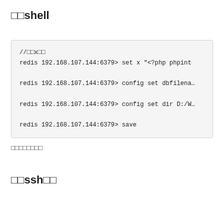□□shell
[Figure (screenshot): Code block showing Redis shell commands: setting key x with PHP webshell content, configuring dbfilename, configuring dir to D:/W, and saving.]
□□□□□□□□
□□ssh□□